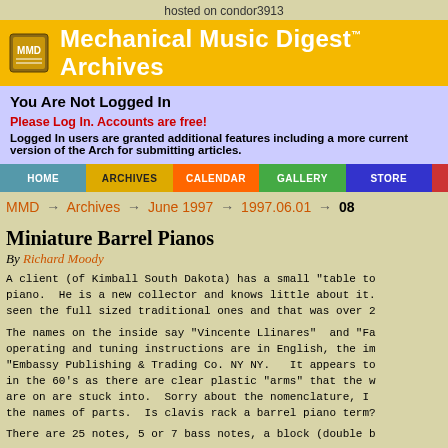hosted on condor3913
Mechanical Music Digest™ Archives
You Are Not Logged In
Please Log In. Accounts are free! Logged In users are granted additional features including a more current version of the Archives and an easy way for submitting articles.
HOME  ARCHIVES  CALENDAR  GALLERY  STORE
MMD → Archives → June 1997 → 1997.06.01 → 08
Miniature Barrel Pianos
By Richard Moody
A client (of Kimball South Dakota) has a small "table to piano. He is a new collector and knows little about it. seen the full sized traditional ones and that was over 2
The names on the inside say "Vincente Llinares" and "Fa operating and tuning instructions are in English, the im "Embassy Publishing & Trading Co. NY NY. It appears to in the 60's as there are clear plastic "arms" that the w are on are stuck into. Sorry about the nomenclature, I the names of parts. Is clavis rack a barrel piano term?
There are 25 notes, 5 or 7 bass notes, a block (double b